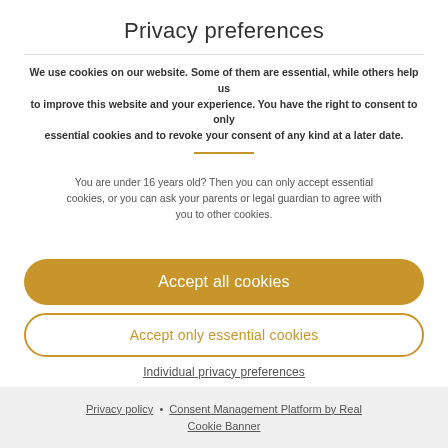Privacy preferences
We use cookies on our website. Some of them are essential, while others help us to improve this website and your experience. You have the right to consent to only essential cookies and to revoke your consent of any kind at a later date.
You are under 16 years old? Then you can only accept essential cookies, or you can ask your parents or legal guardian to agree with you to other cookies.
Accept all cookies
Accept only essential cookies
Individual privacy preferences
Privacy policy • Consent Management Platform by Real Cookie Banner